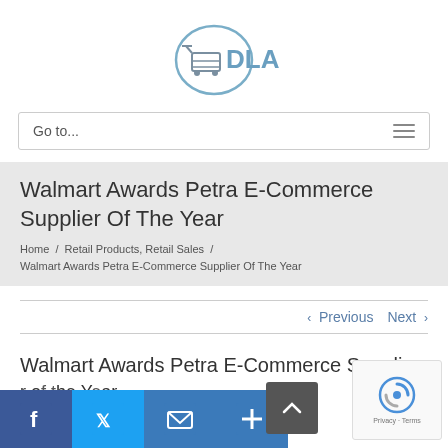[Figure (logo): DLA e-commerce logo with shopping cart icon and 'DLA' text in blue/grey]
Go to...
Walmart Awards Petra E-Commerce Supplier Of The Year
Home / Retail Products, Retail Sales / Walmart Awards Petra E-Commerce Supplier Of The Year
< Previous   Next >
Walmart Awards Petra E-Commerce Supplier Of The Year
[Figure (infographic): Social share buttons: Facebook, Twitter, Email, Add. Scroll-to-top button. reCAPTCHA widget.]